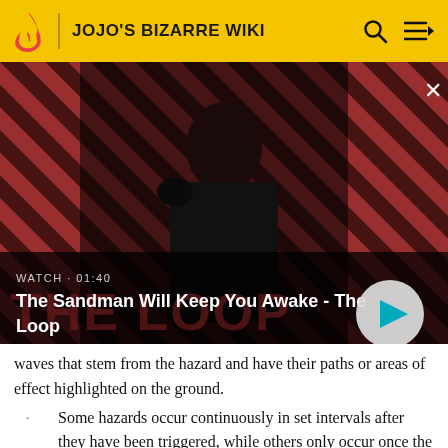JOJO'S BIZARRE WIKI
[Figure (screenshot): Video thumbnail showing a dark-cloaked figure with a raven on their shoulder against a red and dark diagonal striped background. Text overlay: WATCH · 01:40. Title: The Sandman Will Keep You Awake - The Loop. Play button visible.]
waves that stem from the hazard and have their paths or areas of effect highlighted on the ground.
Some hazards occur continuously in set intervals after they have been triggered, while others only occur once the entire battle. The latter of which